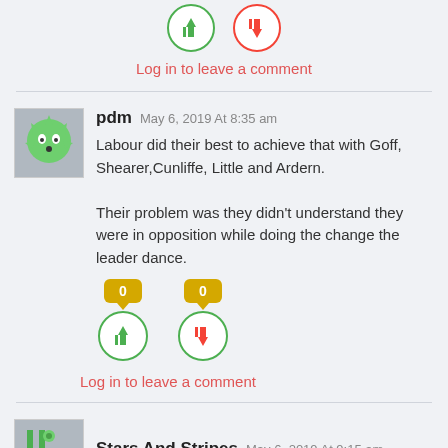[Figure (other): Thumbs up (green) and thumbs down (red) vote buttons at top]
Log in to leave a comment
[Figure (other): User avatar for pdm (green spiky monster icon)]
pdm May 6, 2019 At 8:35 am
Labour did their best to achieve that with Goff, Shearer,Cunliffe, Little and Ardern.

Their problem was they didn't understand they were in opposition while doing the change the leader dance.
[Figure (other): Vote buttons: 0 thumbs up, 0 thumbs down]
Log in to leave a comment
[Figure (other): User avatar for Stars And Stripes (green icon with badge)]
Stars And Stripes May 6, 2019 At 9:15 am